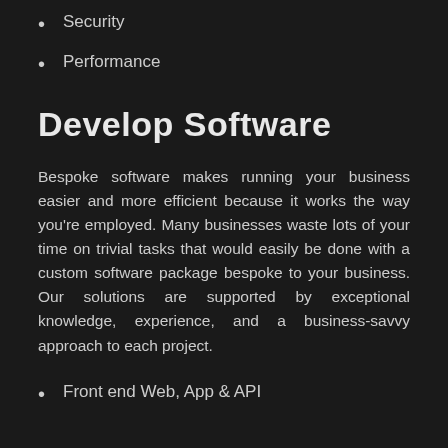Security
Performance
Develop Software
Bespoke software makes running your business easier and more efficient because it works the way you're employed. Many businesses waste lots of your time on trivial tasks that would easily be done with a custom software package bespoke to your business. Our solutions are supported by exceptional knowledge, experience, and a business-savvy approach to each project.
Front end Web, App & API